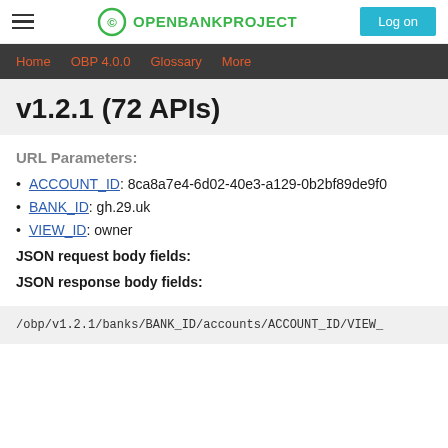OPENBANKPROJECT  Log on
Home  OBP 4.0.0  Glossary  More
v1.2.1 (72 APIs)
URL Parameters:
ACCOUNT_ID: 8ca8a7e4-6d02-40e3-a129-0b2bf89de9f0
BANK_ID: gh.29.uk
VIEW_ID: owner
JSON request body fields:
JSON response body fields:
/obp/v1.2.1/banks/BANK_ID/accounts/ACCOUNT_ID/VIEW_